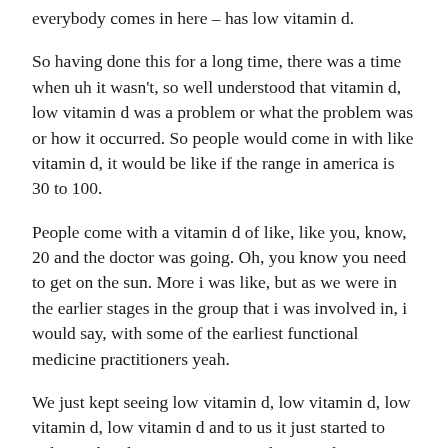everybody comes in here – has low vitamin d.
So having done this for a long time, there was a time when uh it wasn't, so well understood that vitamin d, low vitamin d was a problem or what the problem was or how it occurred. So people would come in with like vitamin d, it would be like if the range in america is 30 to 100.
People come with a vitamin d of like, like you, know, 20 and the doctor was going. Oh, you know you need to get on the sun. More i was like, but as we were in the earlier stages in the group that i was involved in, i would say, with some of the earliest functional medicine practitioners yeah.
We just kept seeing low vitamin d, low vitamin d, low vitamin d, low vitamin d and to us it just started to indicate that there's, a connection between low vitamin d and chronic pain and, ultimately, realizing that hashimoto '